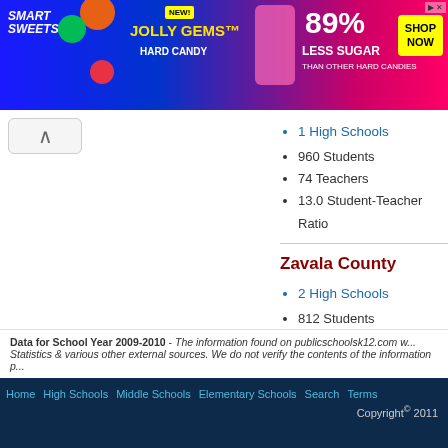[Figure (photo): Smart Sweets Jolly Gems Hard Candy advertisement banner — 89% Less Sugar than other hard candies, Shop Now button]
1 High Schools
960 Students
74 Teachers
13.0 Student-Teacher Ratio
Zavala County
2 High Schools
812 Students
65 Teachers
12.5 Student-Teacher Ratio
Data for School Year 2009-2010 - The information found on publicschoolsk12.com w... Statistics & various other external sources. We do not verify the contents of the information p...
Home  High Schools  Middle Schools  Elementary Schools  Search  Terms  Copyright 2011